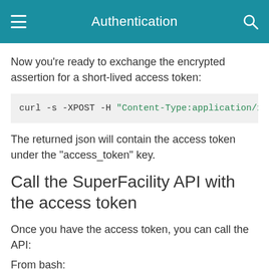Authentication
Now you're ready to exchange the encrypted assertion for a short-lived access token:
curl -s -XPOST -H "Content-Type:application/x-www-form
The returned json will contain the access token under the "access_token" key.
Call the SuperFacility API with the access token
Once you have the access token, you can call the API:
From bash: